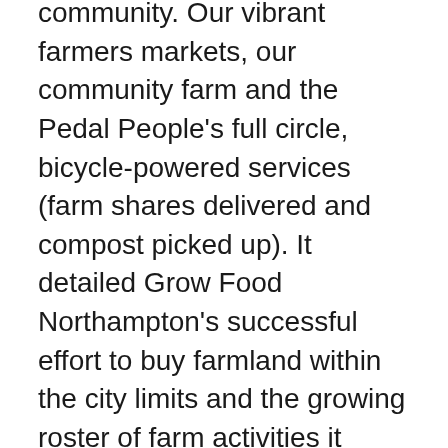community. Our vibrant farmers markets, our community farm and the Pedal People's full circle, bicycle-powered services (farm shares delivered and compost picked up). It detailed Grow Food Northampton's successful effort to buy farmland within the city limits and the growing roster of farm activities it hosts, including Local Hero farms Crimson & Clover and Valley Malt's Slow Tractor Farm.
It noted that Northampton has more farmers markets than any city its size in the state, with a market open three days a week from May to November and a weekly Winter Market. Through joint action by farmers, residents, activists and city officials, the community has built a network of public spaces within the city where food nourishes both our bodies and our community.
In the New York Times article on junk food, author Michael Moss...